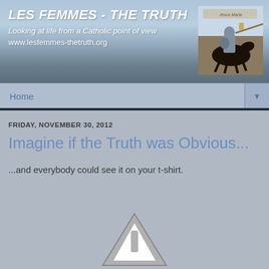LES FEMMES - THE TRUTH
Looking at life from a Catholic point of view
www.lesfemmes-thetruth.org
[Figure (illustration): Medieval knight on horseback with lance, wearing armor, with 'Jesus Maria' text at top]
Home
FRIDAY, NOVEMBER 30, 2012
Imagine if the Truth was Obvious...
...and everybody could see it on your t-shirt.
[Figure (illustration): Partial warning/exclamation triangle icon visible at bottom of page]